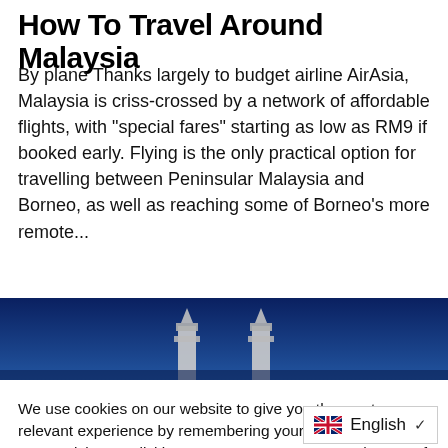How To Travel Around Malaysia
By plane Thanks largely to budget airline AirAsia, Malaysia is criss-crossed by a network of affordable flights, with "special fares" starting as low as RM9 if booked early. Flying is the only practical option for travelling between Peninsular Malaysia and Borneo, as well as reaching some of Borneo's more remote...
[Figure (photo): Image strip showing tops of twin towers (Petronas Towers) against a blue sky background]
We use cookies on our website to give you the most relevant experience by remembering your preferences and repeat visits. By clicking "Accept", you consent to the use of ALL the cookies.
Cookie settings  ACCEPT
English